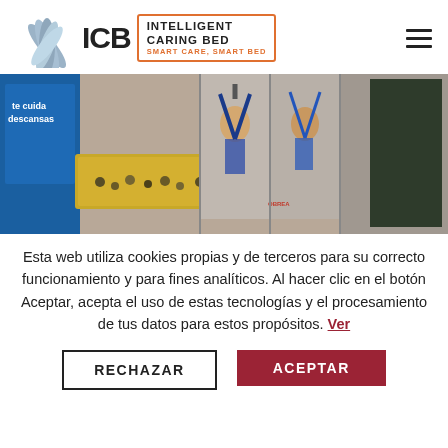[Figure (logo): ICB Intelligent Caring Bed logo with decorative bird/star shape in blue-gray and orange bracket around text]
[Figure (photo): Trade show or exhibition display showing medical equipment including a hospital bed with rails, patient lifts/harnesses, and promotional banners. Text visible: 'te cuida descansas', 'OBREA']
Esta web utiliza cookies propias y de terceros para su correcto funcionamiento y para fines analíticos. Al hacer clic en el botón Aceptar, acepta el uso de estas tecnologías y el procesamiento de tus datos para estos propósitos. Ver
RECHAZAR
ACEPTAR